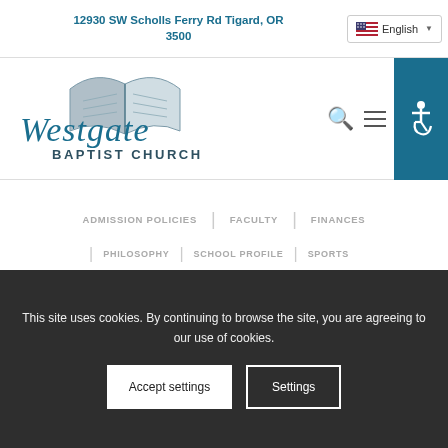12930 SW Scholls Ferry Rd Tigard, OR 3500
[Figure (logo): Westgate Baptist Church logo with open book illustration and teal serif script text]
ADMISSION POLICIES | FACULTY | FINANCES
PHILOSOPHY | SCHOOL PROFILE | SPORTS
This site uses cookies. By continuing to browse the site, you are agreeing to our use of cookies.
Accept settings  Settings